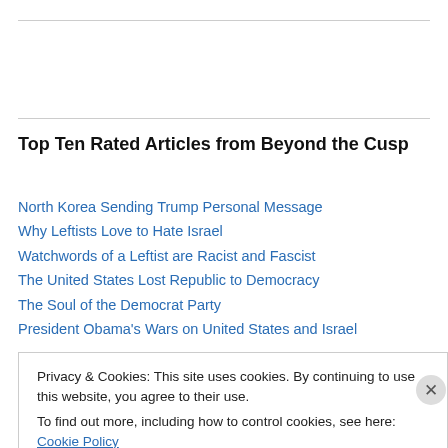Top Ten Rated Articles from Beyond the Cusp
North Korea Sending Trump Personal Message
Why Leftists Love to Hate Israel
Watchwords of a Leftist are Racist and Fascist
The United States Lost Republic to Democracy
The Soul of the Democrat Party
President Obama's Wars on United States and Israel
Privacy & Cookies: This site uses cookies. By continuing to use this website, you agree to their use.
To find out more, including how to control cookies, see here: Cookie Policy